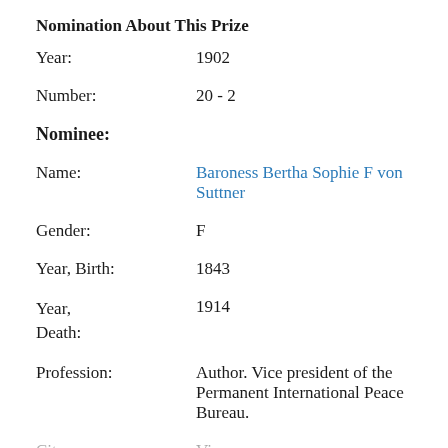Nomination About This Prize
Year: 1902
Number: 20 - 2
Nominee:
Name: Baroness Bertha Sophie F von Suttner
Gender: F
Year, Birth: 1843
Year, Death: 1914
Profession: Author. Vice president of the Permanent International Peace Bureau.
City: Vienna
Country: AUSTRIA (AT)